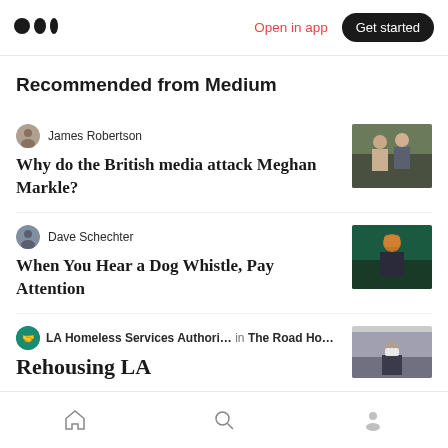Medium logo | Open in app | Get started
Recommended from Medium
James Robertson
Why do the British media attack Meghan Markle?
[Figure (photo): Photo of Meghan Markle and Prince Harry]
Dave Schechter
When You Hear a Dog Whistle, Pay Attention
[Figure (photo): Photo of a person with red hair]
LA Homeless Services Authori… in The Road Ho…
Rehousing LA
[Figure (photo): Photo of a person wearing a mask]
Home | Search | Profile